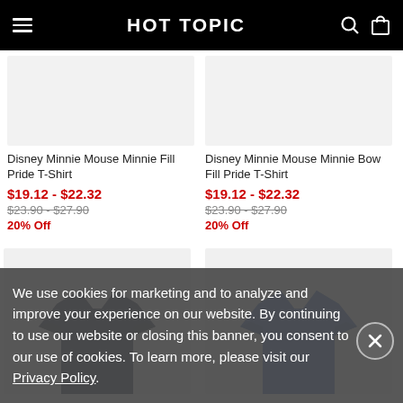HOT TOPIC
Disney Minnie Mouse Minnie Fill Pride T-Shirt
$19.12 - $22.32
$23.90 - $27.90
20% Off
Disney Minnie Mouse Minnie Bow Fill Pride T-Shirt
$19.12 - $22.32
$23.90 - $27.90
20% Off
[Figure (photo): Navy t-shirt product photo on light grey background]
[Figure (photo): Blue t-shirt product photo on light grey background]
We use cookies for marketing and to analyze and improve your experience on our website. By continuing to use our website or closing this banner, you consent to our use of cookies. To learn more, please visit our Privacy Policy.